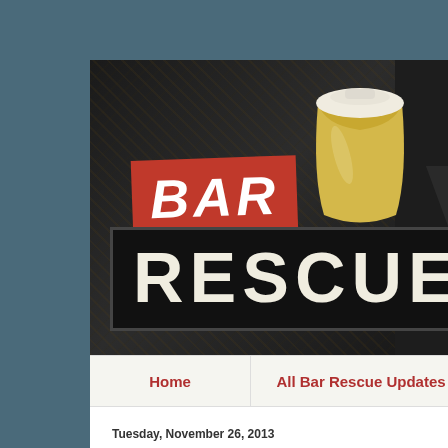[Figure (screenshot): Bar Rescue TV show banner/logo image with 'BAR' on red background and 'RESCUE' in large white letters on dark background, with a coffee cup graphic]
Home | All Bar Rescue Updates
Tuesday, November 26, 2013
Marley's Beach Club From Bar Res...
Marley's Beach Club, which was featured on se... 3 of Bar Rescue has closed as of November 17... The bar was originally called Marley's On The B...